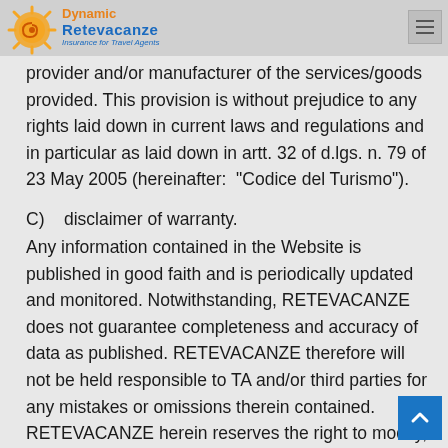Dynamic Retevacanze — Insurance for Travel Agents
provider and/or manufacturer of the services/goods provided. This provision is without prejudice to any rights laid down in current laws and regulations and in particular as laid down in artt. 32 of d.lgs. n. 79 of 23 May 2005 (hereinafter: "Codice del Turismo").
C)   disclaimer of warranty.
Any information contained in the Website is published in good faith and is periodically updated and monitored. Notwithstanding, RETEVACANZE does not guarantee completeness and accuracy of data as published. RETEVACANZE therefore will not be held responsible to TA and/or third parties for any mistakes or omissions therein contained. RETEVACANZE herein reserves the right to modify, update or delete any type of material reproduced or displayed on it as well as any other